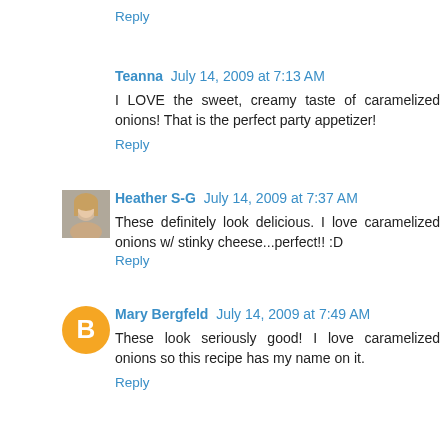Reply
Teanna  July 14, 2009 at 7:13 AM
I LOVE the sweet, creamy taste of caramelized onions! That is the perfect party appetizer!
Reply
[Figure (photo): Small photo of Heather S-G, a woman with blonde hair]
Heather S-G  July 14, 2009 at 7:37 AM
These definitely look delicious. I love caramelized onions w/ stinky cheese...perfect!! :D
Reply
[Figure (logo): Orange circle with letter B (Blogger avatar)]
Mary Bergfeld  July 14, 2009 at 7:49 AM
These look seriously good! I love caramelized onions so this recipe has my name on it.
Reply